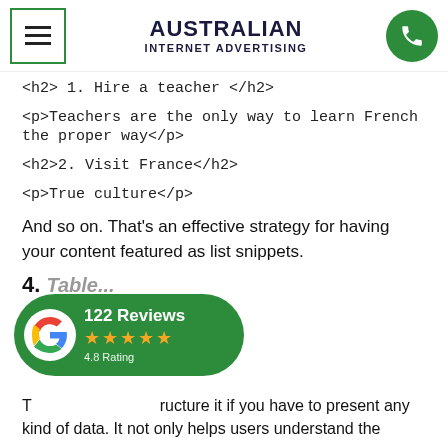AUSTRALIAN INTERNET ADVERTISING
<h2> 1. Hire a teacher </h2>
<p>Teachers are the only way to learn French the proper way</p>
<h2>2. Visit France</h2>
<p>True culture</p>
And so on. That's an effective strategy for having your content featured as list snippets.
4. [partially visible section]
[Figure (other): Google Reviews badge showing 122 Reviews, 4-star rating icons, and 4.8 Rating]
[...] ructure it if you have to present any kind of data. It not only helps users understand the